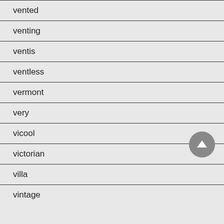vented
venting
ventis
ventless
vermont
very
vicool
victorian
villa
vintage